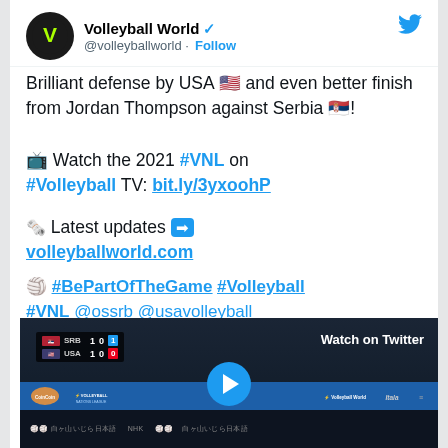Volleyball World @volleyballworld · Follow
Brilliant defense by USA 🇺🇸 and even better finish from Jordan Thompson against Serbia 🇷🇸!
📺 Watch the 2021 #VNL on #Volleyball TV: bit.ly/3yxoohP
🗞️ Latest updates ➡️ volleyballworld.com
🏐 #BePartOfTheGame #Volleyball #VNL @ossrb @usavolleyball
[Figure (screenshot): Video thumbnail showing volleyball match scoreboard SRB vs USA with Watch on Twitter overlay and VNL branding bar]